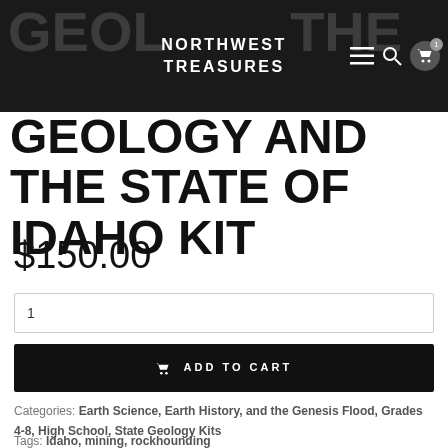NORTHWEST TREASURES
GEOLOGY AND THE STATE OF IDAHO KIT
$150.00
1
ADD TO CART
Categories: Earth Science, Earth History, and the Genesis Flood, Grades 4-8, High School, State Geology Kits
Tags: Idaho, mining, rockhounding